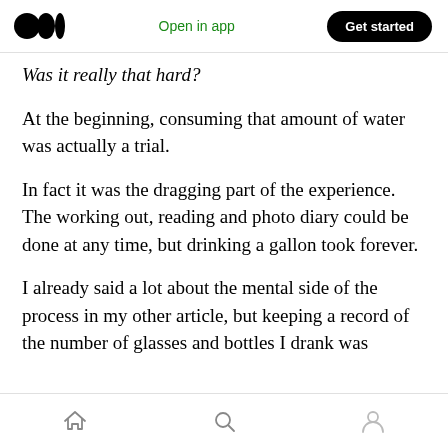Medium logo | Open in app | Get started
Was it really that hard?
At the beginning, consuming that amount of water was actually a trial.
In fact it was the dragging part of the experience. The working out, reading and photo diary could be done at any time, but drinking a gallon took forever.
I already said a lot about the mental side of the process in my other article, but keeping a record of the number of glasses and bottles I drank was
Bottom navigation bar with home, search, and profile icons